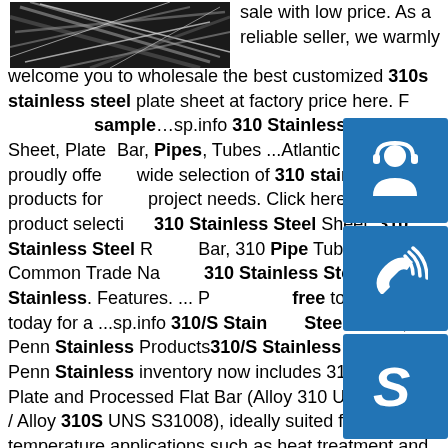[Figure (photo): Close-up photo of metallic steel pipes or rods with streaks of light, dark background]
sale with low price. As a reliable seller, we warmly welcome you to wholesale the best customized 310s stainless steel plate sheet at factory price here. Feel free to get sample…sp.info 310 Stainless Steel Sheet, Plate Bar, Pipes, Tubes ...Atlantic Stainless proudly offers a wide selection of 310 stainless steel products for your project needs. Click here to see our product selection: 310 Stainless Steel Sheet, 310 Stainless Steel Round Bar, 310 Pipe Tube & Fittings. Common Trade Names: 310 Stainless Steel, 310 Stainless. Features. ... Please feel free to contact us today for a ...sp.info 310/S Stainless Steel Grade, Penn Stainless Products310/S Stainless Steel. Penn Stainless inventory now includes 310/ 310S Plate and Processed Flat Bar (Alloy 310 UNS S31000 / Alloy 310S UNS S31008), ideally suited for high-temperature applications such as heat treatment and chemical processing equipment.sp.info Stainless Steel Pipe Tube(SS) in Grade 304, 304L, 304H ...Stainless